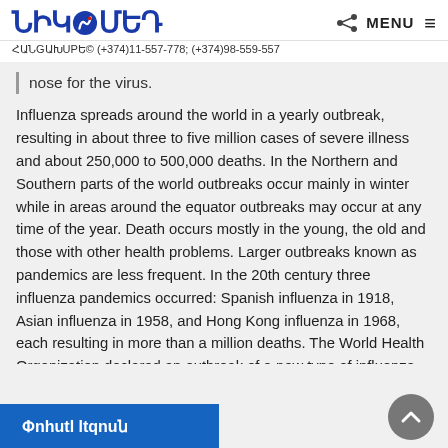ՆԻԿOMЕД | MENU
ՀԱՆԶԱԽUՐԵ© (+374)11-557-778; (+374)98-559-557
nose for the virus.
Influenza spreads around the world in a yearly outbreak, resulting in about three to five million cases of severe illness and about 250,000 to 500,000 deaths. In the Northern and Southern parts of the world outbreaks occur mainly in winter while in areas around the equator outbreaks may occur at any time of the year. Death occurs mostly in the young, the old and those with other health problems. Larger outbreaks known as pandemics are less frequent. In the 20th century three influenza pandemics occurred: Spanish influenza in 1918, Asian influenza in 1958, and Hong Kong influenza in 1968, each resulting in more than a million deaths. The World Health Organization declared an outbreak of a new type of influenza A/H1N1 to be a pandemic in June of 2009. Influenza may also affect animals including pigs, horses and birds.
Փnhutl ltqnuն